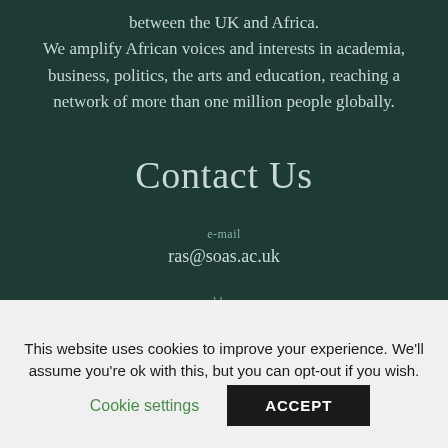between the UK and Africa. We amplify African voices and interests in academia, business, politics, the arts and education, reaching a network of more than one million people globally.
Contact Us
e-mail
ras@soas.ac.uk
address
Royal African Society
This website uses cookies to improve your experience. We'll assume you're ok with this, but you can opt-out if you wish.
Cookie settings
ACCEPT